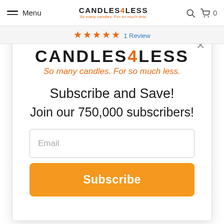Menu | CANDLES4LESS So many candles. For so much less. | 0
★★★★★ 1 Review
[Figure (screenshot): Modal popup with CANDLES4LESS logo, tagline, subscribe and save message, email input field, and subscribe button]
CANDLES4LESS
So many candles. For so much less.
Subscribe and Save!
Join our 750,000 subscribers!
Email
Subscribe